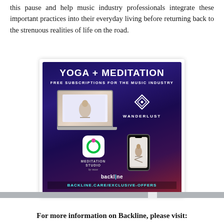this pause and help music industry professionals integrate these important practices into their everyday living before returning back to the strenuous realities of life on the road.
[Figure (illustration): Advertisement for Yoga + Meditation free subscriptions for the music industry, featuring Wanderlust, Meditation Studio by Muse, and Backline. Shows a laptop with yoga content, app icons, and a phone with meditation content. URL: BACKLINE.CARE/EXCLUSIVE-OFFERS]
For more information on Backline, please visit: